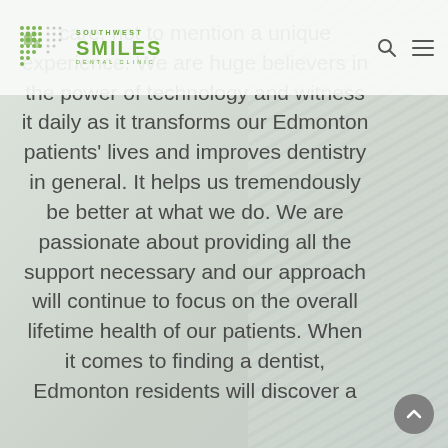Southwest Smiles Dental Clinic
care, not to mention a unique experience. We are huge believers in the power of technology and witness it daily as it transforms our Edmonton patients' lives and improves dentistry in general. It helps us tremendously be better at what we do. We are passionate about providing all the support necessary and our approach will continue to focus on the overall lifetime health of our patients. When it comes to finding a dentist, Edmonton residents will discover a